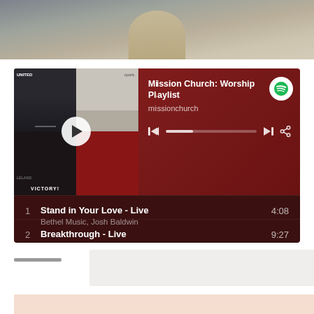[Figure (photo): Partial concert or performance photo at top of page, showing a figure with what appears to be a bow or instrument against a hazy sky background]
[Figure (screenshot): Spotify embedded player widget showing 'Mission Church: Worship Playlist' by missionchurch. Contains album art collage, playback controls with progress bar, and a track list showing: 1. Stand in Your Love - Live by Bethel Music, Josh Baldwin (4:08) and 2. Breakthrough - Live by Red Rocks Worship (9:27)]
[Figure (photo): Gray partial content block, partially visible below the Spotify widget]
[Figure (photo): Peach/salmon colored partial content block at very bottom of page]